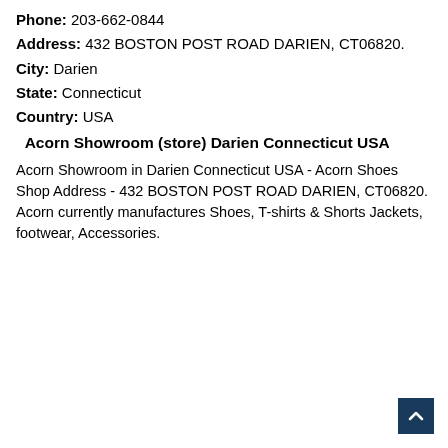Phone: 203-662-0844
Address: 432 BOSTON POST ROAD DARIEN, CT06820.
City: Darien
State: Connecticut
Country: USA
Acorn Showroom (store) Darien Connecticut USA
Acorn Showroom in Darien Connecticut USA - Acorn Shoes Shop Address - 432 BOSTON POST ROAD DARIEN, CT06820. Acorn currently manufactures Shoes, T-shirts & Shorts Jackets, footwear, Accessories.